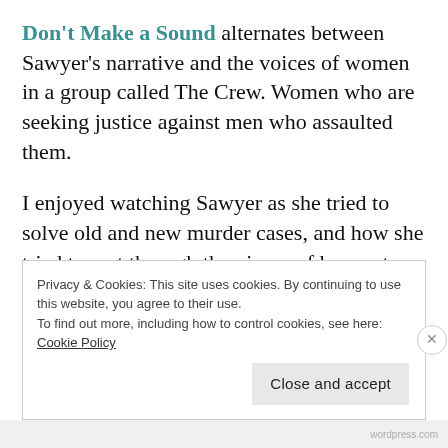Don't Make a Sound alternates between Sawyer's narrative and the voices of women in a group called The Crew. Women who are seeking justice against men who assaulted them.

I enjoyed watching Sawyer as she tried to solve old and new murder cases, and how she tried to sort through the pieces of her past life, a life she had escaped.
Privacy & Cookies: This site uses cookies. By continuing to use this website, you agree to their use.
To find out more, including how to control cookies, see here:
Cookie Policy

Close and accept